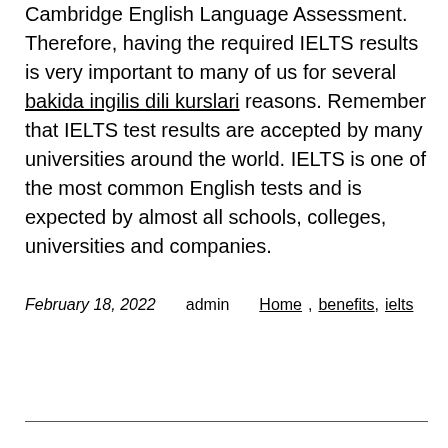Cambridge English Language Assessment. Therefore, having the required IELTS results is very important to many of us for several bakida ingilis dili kurslari reasons. Remember that IELTS test results are accepted by many universities around the world. IELTS is one of the most common English tests and is expected by almost all schools, colleges, universities and companies.
February 18, 2022   admin   Home   benefits, ielts